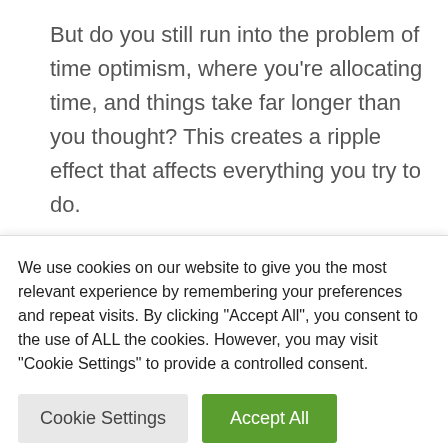But do you still run into the problem of time optimism, where you're allocating time, and things take far longer than you thought? This creates a ripple effect that affects everything you try to do.
How do you even tackle a problem that afflicts almost everyone? Even those who don't use a calendar at all?
We use cookies on our website to give you the most relevant experience by remembering your preferences and repeat visits. By clicking "Accept All", you consent to the use of ALL the cookies. However, you may visit "Cookie Settings" to provide a controlled consent.